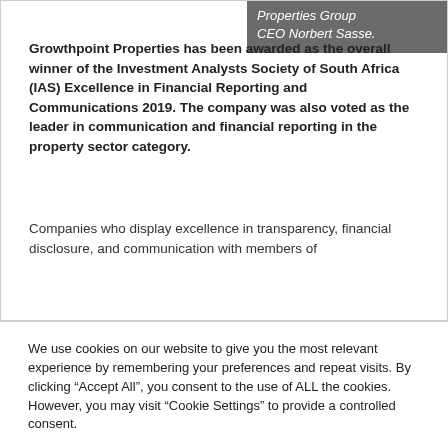Properties Group CEO Norbert Sasse.
Growthpoint Properties has been awarded as the overall winner of the Investment Analysts Society of South Africa (IAS) Excellence in Financial Reporting and Communications 2019. The company was also voted as the leader in communication and financial reporting in the property sector category.
Companies who display excellence in transparency, financial disclosure, and communication with members of
We use cookies on our website to give you the most relevant experience by remembering your preferences and repeat visits. By clicking “Accept All”, you consent to the use of ALL the cookies. However, you may visit "Cookie Settings" to provide a controlled consent.